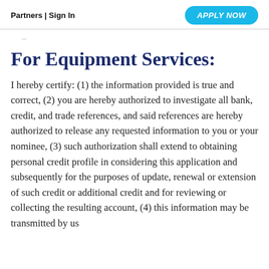Partners | Sign In   APPLY NOW
For Equipment Services:
I hereby certify: (1) the information provided is true and correct, (2) you are hereby authorized to investigate all bank, credit, and trade references, and said references are hereby authorized to release any requested information to you or your nominee, (3) such authorization shall extend to obtaining personal credit profile in considering this application and subsequently for the purposes of update, renewal or extension of such credit or additional credit and for reviewing or collecting the resulting account, (4) this information may be transmitted by us